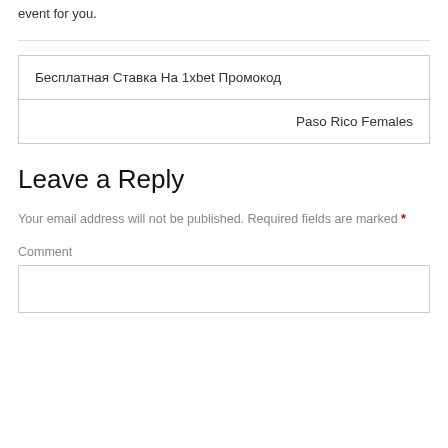event for you.
| Бесплатная Ставка На 1xbet Промокод |
| Paso Rico Females |
Leave a Reply
Your email address will not be published. Required fields are marked *
Comment